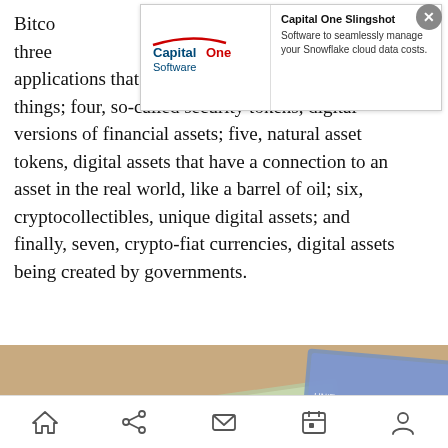Bitcoin three fic to applications that could be doing any number of things; four, so-called security tokens, digital versions of financial assets; five, natural asset tokens, digital assets that have a connection to an asset in the real world, like a barrel of oil; six, cryptocollectibles, unique digital assets; and finally, seven, crypto-fiat currencies, digital assets being created by governments.
[Figure (other): Advertisement banner for Capital One Slingshot software to manage Snowflake cloud data costs, with Capital One Software logo on left and text on right, with close button.]
[Figure (photo): Photo of US $100 dollar bills fanned out with a gold Bitcoin coin on top, close-up shot.]